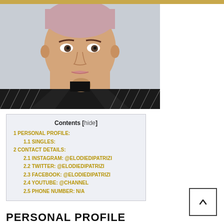[Figure (photo): Portrait photo of a young woman with short pink-tinted hair, wearing a dark striped blazer, looking directly at camera with a serious expression]
| Contents |
| --- |
| 1 PERSONAL PROFILE: |
| 1.1 SINGLES: |
| 2 CONTACT DETAILS: |
| 2.1 INSTAGRAM: @elodiedipatrizi |
| 2.2 TWITTER: @elodiedipatrizi |
| 2.3 FACEBOOK: @elodiedipatrizi |
| 2.4 YOUTUBE: @Channel |
| 2.5 PHONE NUMBER: N/A |
PERSONAL PROFILE